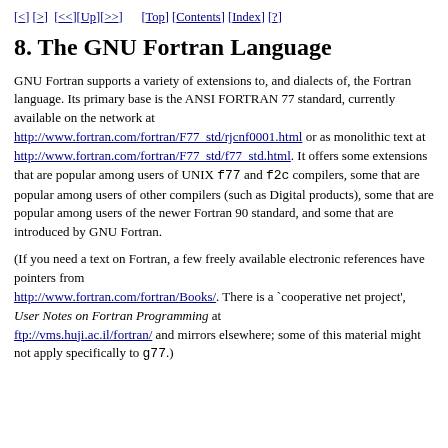[ < ] [ > ]  [ << ][ Up ][ >> ]      [Top] [Contents] [Index] [ ? ]
8. The GNU Fortran Language
GNU Fortran supports a variety of extensions to, and dialects of, the Fortran language. Its primary base is the ANSI FORTRAN 77 standard, currently available on the network at http://www.fortran.com/fortran/F77_std/rjcnf0001.html or as monolithic text at http://www.fortran.com/fortran/F77_std/f77_std.html. It offers some extensions that are popular among users of UNIX f77 and f2c compilers, some that are popular among users of other compilers (such as Digital products), some that are popular among users of the newer Fortran 90 standard, and some that are introduced by GNU Fortran.
(If you need a text on Fortran, a few freely available electronic references have pointers from http://www.fortran.com/fortran/Books/. There is a `cooperative net project', User Notes on Fortran Programming at ftp://vms.huji.ac.il/fortran/ and mirrors elsewhere; some of this material might not apply specifically to g77.)